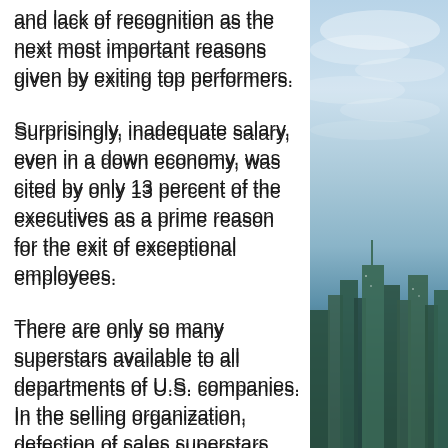and lack of recognition as the next most important reasons given by exiting top performers.
Surprisingly, inadequate salary, even in a down economy, was cited by only 13 percent of the executives as a prime reason for the exit of exceptional employees.
There are only so many superstars available to all departments of U.S. companies. In the selling organization, defection of sales superstars should be particularly worrisome for senior executives. Like all superstars, there aren't enough top performing sales professionals to go around, and they are rarely looking to perform their magic...
[Figure (photo): Cityscape photo showing sky with clouds in upper portion transitioning to city buildings (skyscrapers) in the lower portion, with green tint on the buildings.]